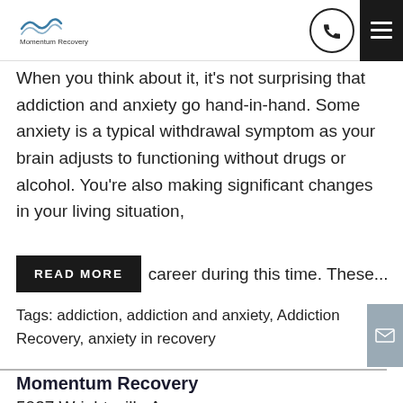Momentum Recovery
When you think about it, it's not surprising that addiction and anxiety go hand-in-hand. Some anxiety is a typical withdrawal symptom as your brain adjusts to functioning without drugs or alcohol. You're also making significant changes in your living situation, [READ MORE] career during this time. These...
Tags: addiction, addiction and anxiety, Addiction Recovery, anxiety in recovery
Momentum Recovery
5027 Wrightsville Ave